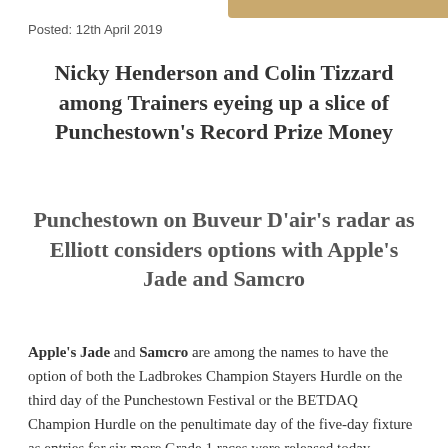Posted: 12th April 2019
Nicky Henderson and Colin Tizzard among Trainers eyeing up a slice of Punchestown's Record Prize Money
Punchestown on Buveur D'air's radar as Elliott considers options with Apple's Jade and Samcro
Apple's Jade and Samcro are among the names to have the option of both the Ladbrokes Champion Stayers Hurdle on the third day of the Punchestown Festival or the BETDAQ Champion Hurdle on the penultimate day of the five-day fixture as entries for six more Grade 1 races were released today.